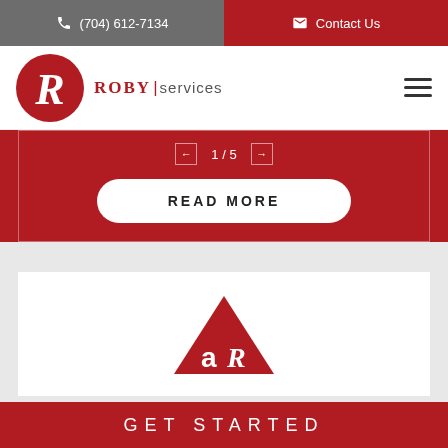(704) 612-7134   Contact Us
[Figure (logo): Roby Services logo with red circle containing a white italic R, and ROBY|services text]
← 1 / 5 →
READ MORE
[Figure (logo): Roby Services triangle logo with 'aR' letters in white on a red triangle]
GET STARTED